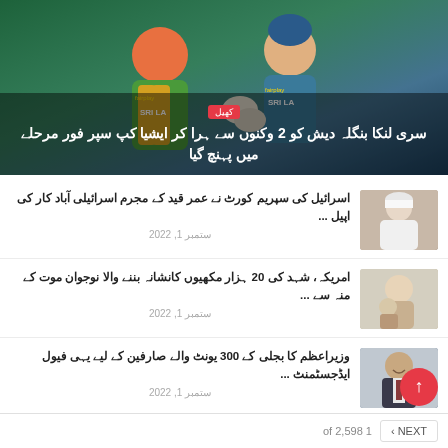[Figure (photo): Hero image showing Sri Lanka cricket players in colorful jerseys with 'fairplay' branding and 'SRI LA' visible on uniform. Badge 'کھیل' shown over image.]
سری لنکا بنگلہ دیش کو 2 وکنوں سے ہرا کر ایشیا کپ سپر فور مرحلے میں پہنچ گیا
[Figure (photo): Thumbnail image of a person wearing white medical uniform or traditional clothing, appears to be medical context]
اسرائیل کی سپریم کورٹ نے عمر قید کے مجرم اسرائیلی آباد کار کی اپیل...
ستمبر 1, 2022
[Figure (photo): Thumbnail image showing a person, appears lighter toned, related to honey bee story]
امریکہ، شہد کی 20 ہزار مکھیوں کانشانہ بننے والا نوجوان موت کے منہ سے...
ستمبر 1, 2022
[Figure (photo): Thumbnail image of a man in suit, appears to be a Pakistani politician (Shehbaz Sharif)]
وزیراعظم کا بجلی کے 300 یونٹ والے صارفین کے لیے یہی فیول ایڈجسٹمنٹ...
ستمبر 1, 2022
of 2,598 1   ‹ NEXT